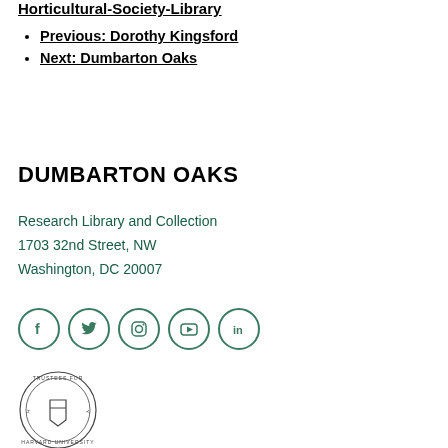Horticultural-Society-Library
Previous: Dorothy Kingsford
Next: Dumbarton Oaks
DUMBARTON OAKS
Research Library and Collection
1703 32nd Street, NW
Washington, DC 20007
[Figure (logo): Five circular social media icons: Facebook, Twitter, Instagram, YouTube, LinkedIn]
[Figure (logo): Trustees for Harvard University circular seal/logo]